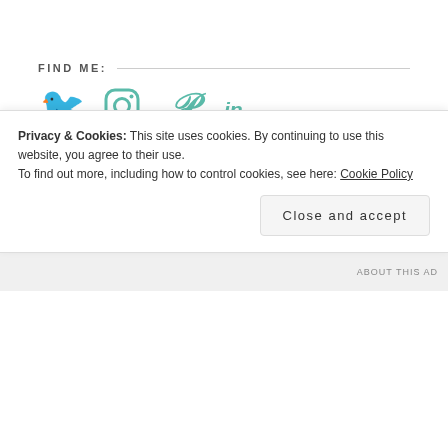FIND ME:
[Figure (illustration): Social media icons: Twitter bird, Instagram camera, Pinterest P, LinkedIn 'in' — all in teal/green color]
SUBSCRIBE TO BLOG VIA EMAIL
Enter your email address to subscribe to this blog and receive notifications of new posts by email.
Enter your email address
Privacy & Cookies: This site uses cookies. By continuing to use this website, you agree to their use. To find out more, including how to control cookies, see here: Cookie Policy
Close and accept